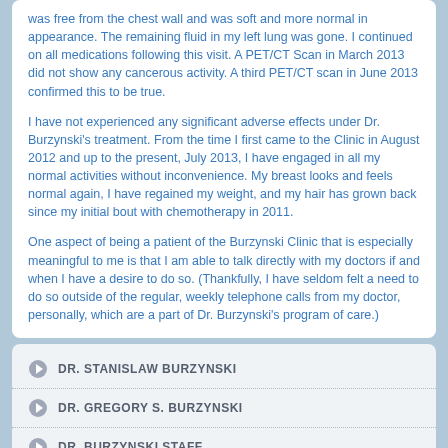was free from the chest wall and was soft and more normal in appearance. The remaining fluid in my left lung was gone. I continued on all medications following this visit. A PET/CT Scan in March 2013 did not show any cancerous activity. A third PET/CT scan in June 2013 confirmed this to be true.
I have not experienced any significant adverse effects under Dr. Burzynski's treatment. From the time I first came to the Clinic in August 2012 and up to the present, July 2013, I have engaged in all my normal activities without inconvenience. My breast looks and feels normal again, I have regained my weight, and my hair has grown back since my initial bout with chemotherapy in 2011.
One aspect of being a patient of the Burzynski Clinic that is especially meaningful to me is that I am able to talk directly with my doctors if and when I have a desire to do so. (Thankfully, I have seldom felt a need to do so outside of the regular, weekly telephone calls from my doctor, personally, which are a part of Dr. Burzynski's program of care.)
DR. STANISLAW BURZYNSKI
DR. GREGORY S. BURZYNSKI
DR. BURZYNSKI STAFF
ANTINEOPLASTONS